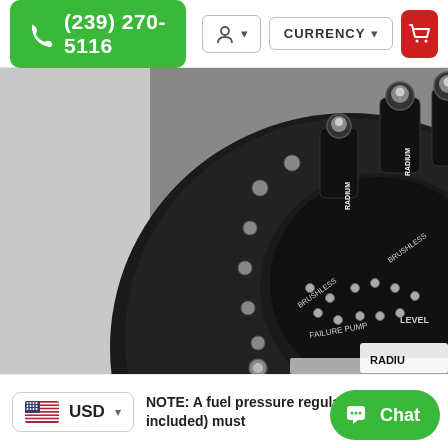(239) 270-5116  |  CURRENCY
[Figure (photo): Close-up photo of a black anodized aluminum fuel surge tank/swirl pot lid with multiple RADIUM-branded AN fittings and brushless fuel pump connections. Several silver stud bolts are visible around the circular lid. Text on the lid reads 'BRUSHLESS' and 'FAILURE PUMP'.]
NOTE: A fuel pressure regulator (not included) must
USD